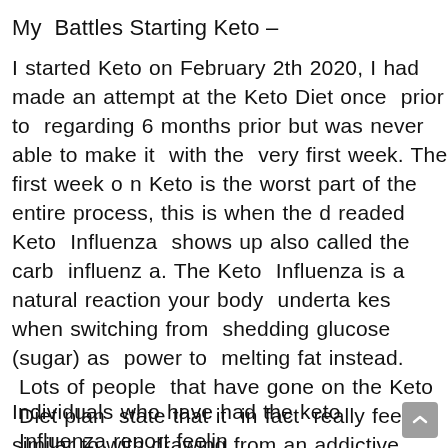My  Battles Starting Keto –
I started Keto on February 2th 2020, I had made an attempt at the Keto Diet once  prior to  regarding 6 months prior but was never able to make it  with the  very first week. The first week on Keto is the worst part of the entire process, this is when the dreaded Keto  Influenza  shows up also called the carb  influenza. The Keto  Influenza is a natural reaction your body  undertakes when switching from  shedding glucose (sugar) as  power to  melting fat instead.  Lots of people  that have gone on the Keto  Diet plan  state that it  in fact  really feels similar to with drawing from an addictive  compound. This can last anywhere between 3 days to an entire week, it only lasted a  couple of days in my case.
Individuals who have had the keto  Influenza report feelin